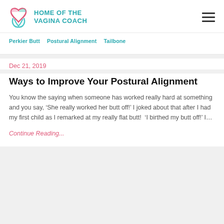HOME OF THE VAGINA COACH
Perkier Butt | Postural Alignment | Tailbone
Dec 21, 2019
Ways to Improve Your Postural Alignment
You know the saying when someone has worked really hard at something and you say, ‘She really worked her butt off!’ I joked about that after I had my first child as I remarked at my really flat butt!  ‘I birthed my butt off!’ I…
Continue Reading...